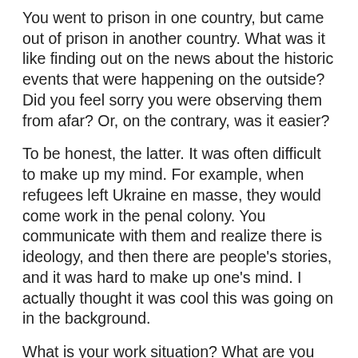You went to prison in one country, but came out of prison in another country. What was it like finding out on the news about the historic events that were happening on the outside? Did you feel sorry you were observing them from afar? Or, on the contrary, was it easier?
To be honest, the latter. It was often difficult to make up my mind. For example, when refugees left Ukraine en masse, they would come work in the penal colony. You communicate with them and realize there is ideology, and then there are people's stories, and it was hard to make up one's mind. I actually thought it was cool this was going on in the background.
What is your work situation? What are you planning to do?
Of course, I would like to do the work I was educated to do, as a financial systems analyst, as it says in my diploma. My old job did not survive the crisis. I will have problems, of course.  I have even asked acquaintances at several companies, but I was told no way, especially in